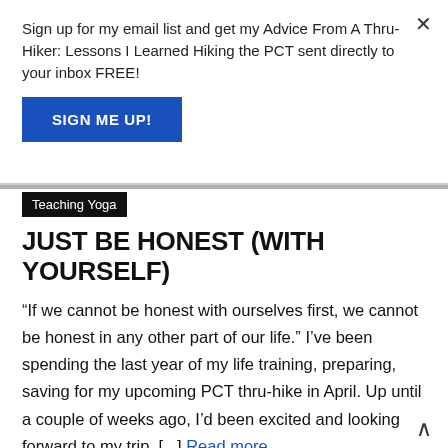Sign up for my email list and get my Advice From A Thru-Hiker: Lessons I Learned Hiking the PCT sent directly to your inbox FREE!
SIGN ME UP!
Teaching Yoga
JUST BE HONEST (WITH YOURSELF)
“If we cannot be honest with ourselves first, we cannot be honest in any other part of our life.” I’ve been spending the last year of my life training, preparing, saving for my upcoming PCT thru-hike in April. Up until a couple of weeks ago, I’d been excited and looking forward to my trip. [...] Read more...